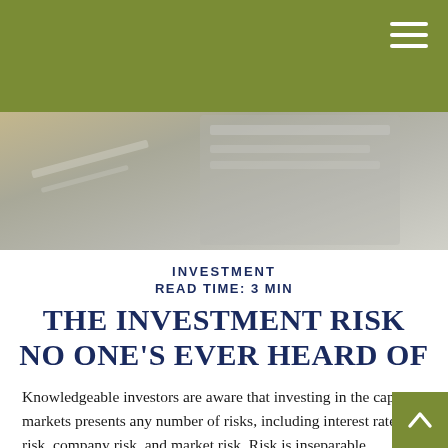INVESTMENT
READ TIME: 3 MIN
[Figure (photo): Close-up photo of financial/office documents or charts on a desk, with muted beige, gray and white tones.]
THE INVESTMENT RISK NO ONE'S EVER HEARD OF
Knowledgeable investors are aware that investing in the capital markets presents any number of risks, including interest rate risk, company risk, and market risk. Risk is inseparable companion to the potential for long-term growth. Some of the investment risks we face can be mitigated through diversification.1